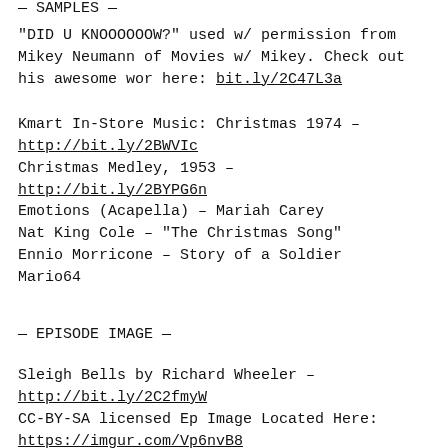— SAMPLES —
“DID U KNOOOOOOW?” used w/ permission from Mikey Neumann of Movies w/ Mikey. Check out his awesome work here: bit.ly/2C47L3a
Kmart In-Store Music: Christmas 1974 – http://bit.ly/2BWVIc
Christmas Medley, 1953 – http://bit.ly/2BYPG6n
Emotions (Acapella) – Mariah Carey
Nat King Cole – “The Christmas Song”
Ennio Morricone – Story of a Soldier
Mario64
— EPISODE IMAGE —
Sleigh Bells by Richard Wheeler – http://bit.ly/2C2fmyW
CC-BY-SA licensed Ep Image Located Here:
https://imgur.com/Vp6nvB8
— THANKS —